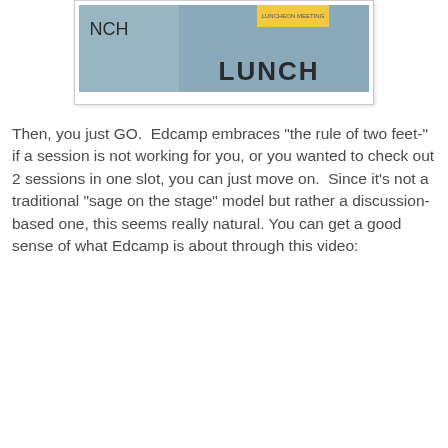[Figure (photo): Photo of a scheduling board with sticky notes, showing 'LUNCH' written on blue/grey panels and a yellow sticky note at the top.]
Then, you just GO.  Edcamp embraces "the rule of two feet-" if a session is not working for you, or you wanted to check out 2 sessions in one slot, you can just move on.  Since it's not a traditional "sage on the stage" model but rather a discussion-based one, this seems really natural. You can get a good sense of what Edcamp is about through this video: